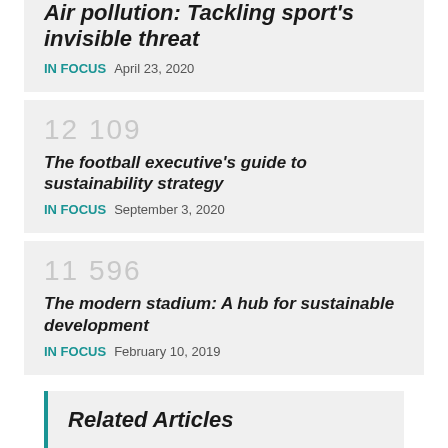Air pollution: Tackling sport's invisible threat
IN FOCUS   April 23, 2020
12 109
The football executive's guide to sustainability strategy
IN FOCUS   September 3, 2020
11 596
The modern stadium: A hub for sustainable development
IN FOCUS   February 10, 2019
Related Articles